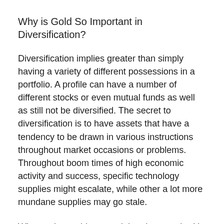Why is Gold So Important in Diversification?
Diversification implies greater than simply having a variety of different possessions in a portfolio. A profile can have a number of different stocks or even mutual funds as well as still not be diversified. The secret to diversification is to have assets that have a tendency to be drawn in various instructions throughout market occasions or problems. Throughout boom times of high economic activity and success, specific technology supplies might escalate, while other a lot more mundane supplies may go stale.
What makes gold so special and so required in a diversity strategy is that it tends to